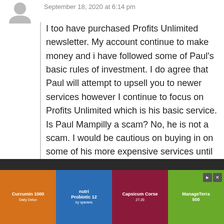September 18, 2020 at 6:14 pm
I too have purchased Profits Unlimited newsletter. My account continue to make money and i have followed some of Paul's basic rules of investment. I do agree that Paul will attempt to upsell you to newer services however I continue to focus on Profits Unlimited which is his basic service. Is Paul Mampilly a scam? No, he is not a scam. I would be cautious on buying in on some of his more expensive services until you use his basic service for some time. Your mileage may vary and Paul does have some stocks that are sideways. The
[Figure (infographic): Advertisement banner showing four supplement product bottles on colored backgrounds: Curcumin 1000 (orange), Probiotic 12 (blue), Capsicum Corse (dark red), and ManageTerra 500 (green).]